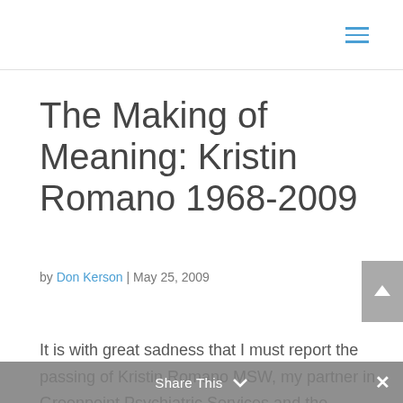The Making of Meaning: Kristin Romano 1968-2009
by Don Kerson | May 25, 2009
It is with great sadness that I must report the passing of Kristin Romano MSW, my partner in Greenpoint Psychiatric Services and the Greenpoint Group Therapy Program. Over the
Share This